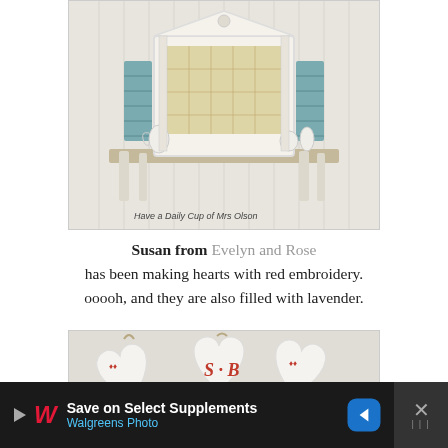[Figure (photo): Photo of a white ornate decorative shelf with a mirror framed like a small house/temple facade. Teal shutters flank the mirror. White ceramic pitchers and vases sit on the shelf. Beadboard wall background. Watermark reads 'Have a Daily Cup of Mrs Olson'.]
Susan from Evelyn and Rose has been making hearts with red embroidery. ooooh, and they are also filled with lavender.
[Figure (photo): Photo of white fabric stuffed heart shapes with red embroidered monograms/initials, gathered in a wire basket with twine ties.]
Save on Select Supplements Walgreens Photo